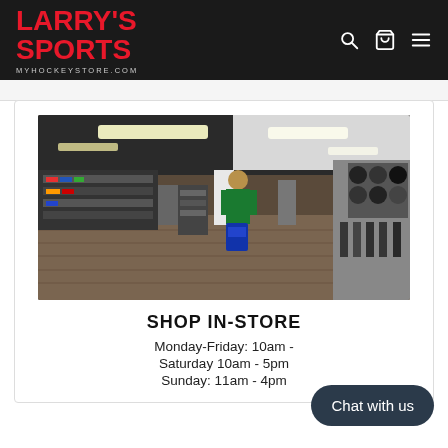LARRY'S SPORTS — MYHOCKEYSTORE.COM
[Figure (photo): Interior panoramic view of Larry's Sports hockey store showing merchandise shelves, equipment displays, clothing racks, and a mannequin in a hockey jersey on a hardwood floor with overhead lighting.]
SHOP IN-STORE
Monday-Friday: 10am -
Saturday 10am - 5pm
Sunday: 11am - 4pm
Chat with us